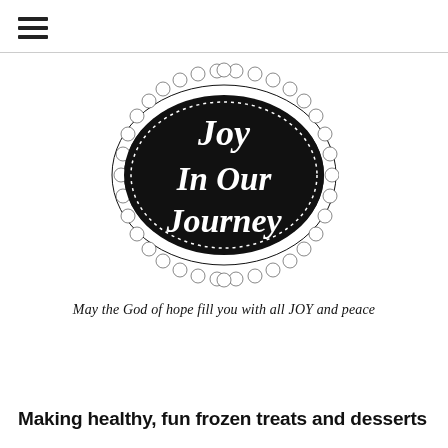☰
[Figure (logo): Oval black badge logo with decorative lace/scallop border. White cursive text reads 'Joy In Our Journey' on black background with white dotted inner border ring.]
May the God of hope fill you with all JOY and peace
Making healthy, fun frozen treats and desserts